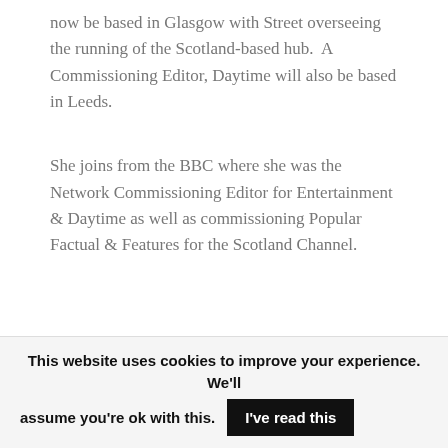now be based in Glasgow with Street overseeing the running of the Scotland-based hub.  A Commissioning Editor, Daytime will also be based in Leeds.
She joins from the BBC where she was the Network Commissioning Editor for Entertainment & Daytime as well as commissioning Popular Factual & Features for the Scotland Channel.
This website uses cookies to improve your experience. We'll assume you're ok with this. I've read this